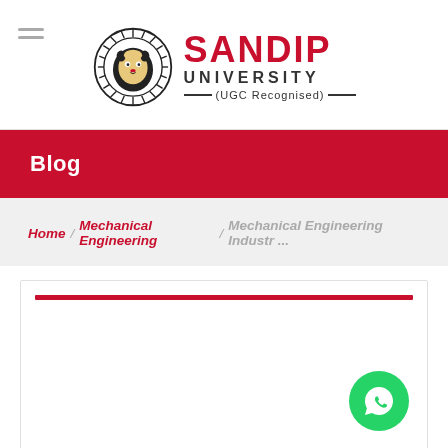[Figure (logo): Sandip University logo with lion emblem and UGC Recognised text]
Blog
Home / Mechanical Engineering / Mechanical Engineering Industr...
[Figure (other): Content card with red top bar and WhatsApp floating button]